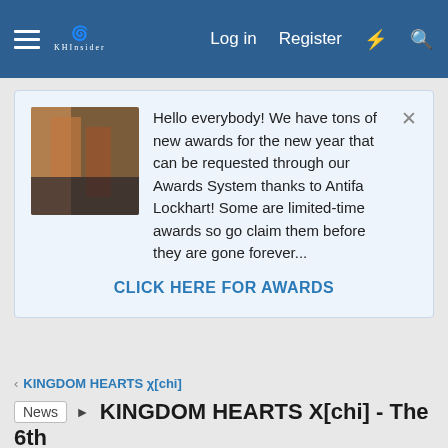Log in  Register
Hello everybody! We have tons of new awards for the new year that can be requested through our Awards System thanks to Antifa Lockhart! Some are limited-time awards so go claim them before they are gone forever...
CLICK HERE FOR AWARDS
KINGDOM HEARTS χ[chi]
KINGDOM HEARTS X[chi] - The 6th Apprentice and Rising Conflicts
Sign · Jul 7, 2016
[Figure (screenshot): Partial advertisement banner reading 'Don't be fooled by tight spreads' with yellow and blue design, and a partial dark image on the right edge]